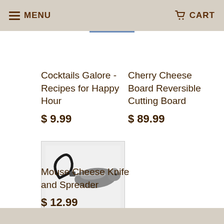MENU  CART
Cocktails Galore - Recipes for Happy Hour
$ 9.99
Cherry Cheese Board Reversible Cutting Board
$ 89.99
[Figure (photo): A metal mouse-shaped cheese knife and spreader tool with a black cord loop handle, against a white background.]
Mouse Cheese Knife and Spreader
$ 12.99